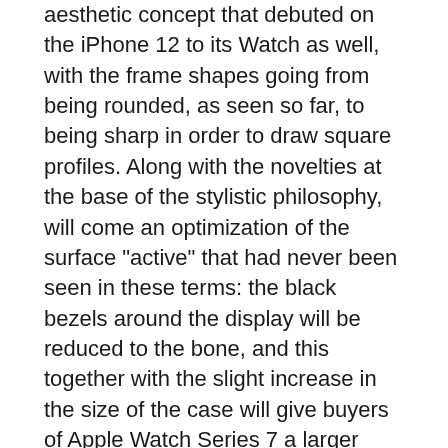aesthetic concept that debuted on the iPhone 12 to its Watch as well, with the frame shapes going from being rounded, as seen so far, to being sharp in order to draw square profiles. Along with the novelties at the base of the stylistic philosophy, will come an optimization of the surface "active" that had never been seen in these terms: the black bezels around the display will be reduced to the bone, and this together with the slight increase in the size of the case will give buyers of Apple Watch Series 7 a larger screen.
Bigger screen for Apple Watch 7
On the wrists of those who will buy one will therefore be a watch with a display larger